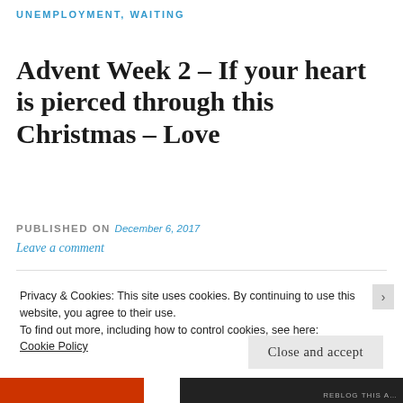UNEMPLOYMENT, WAITING
Advent Week 2 – If your heart is pierced through this Christmas – Love
PUBLISHED ON December 6, 2017
Leave a comment
Privacy & Cookies: This site uses cookies. By continuing to use this website, you agree to their use.
To find out more, including how to control cookies, see here:
Cookie Policy
Close and accept